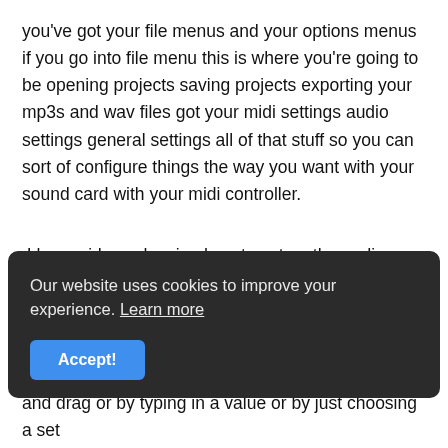you've got your file menus and your options menus if you go into file menu this is where you're going to be opening projects saving projects exporting your mp3s and wav files got your midi settings audio settings general settings all of that stuff so you can sort of configure things the way you want with your sound card with your midi controller.
I have videos showing how to set up the audio interfaces and midi controllers I'll link all of that stuff in the description if you move across the top bar we have master volume and master pitch it's best to just leave these
Our website uses cookies to improve your experience. Learn more
Accept!
and drag or by typing in a value or by just choosing a set